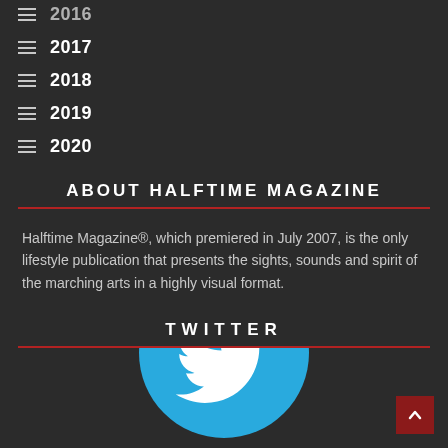2016
2017
2018
2019
2020
ABOUT HALFTIME MAGAZINE
Halftime Magazine®, which premiered in July 2007, is the only lifestyle publication that presents the sights, sounds and spirit of the marching arts in a highly visual format.
TWITTER
[Figure (logo): Twitter bird logo icon in a light blue circle, partially visible at the bottom of the page.]